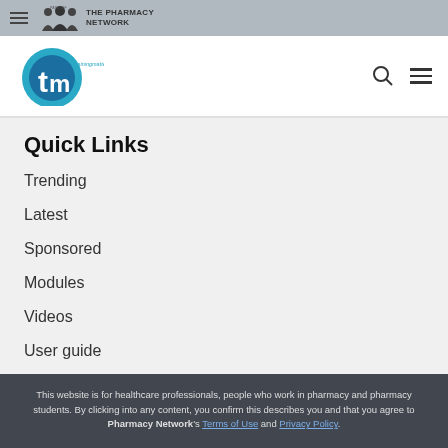Part of The Pharmacy Network
[Figure (logo): Training Matters (tm) logo with teal circle and 'trainingmatters' text]
Quick Links
Trending
Latest
Sponsored
Modules
Videos
User guide
This website is for healthcare professionals, people who work in pharmacy and pharmacy students. By clicking into any content, you confirm this describes you and that you agree to Pharmacy Network's Terms of Use and Privacy Policy.